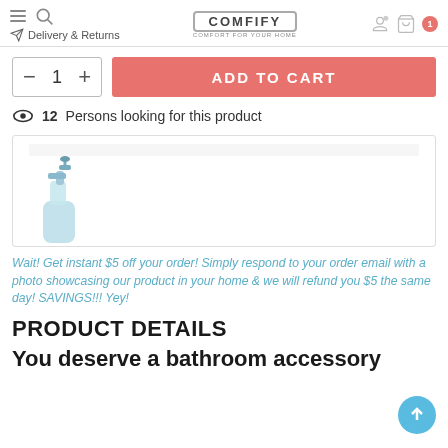Comfify — Delivery & Returns
— 1 + ADD TO CART
12 Persons looking for this product
[Figure (photo): Product image of a soap/lotion dispenser bottle in light blue color inside a bordered box]
Wait! Get instant $5 off your order! Simply respond to your order email with a photo showcasing our product in your home & we will refund you $5 the same day! SAVINGS!!! Yey!
PRODUCT DETAILS
You deserve a bathroom accessory